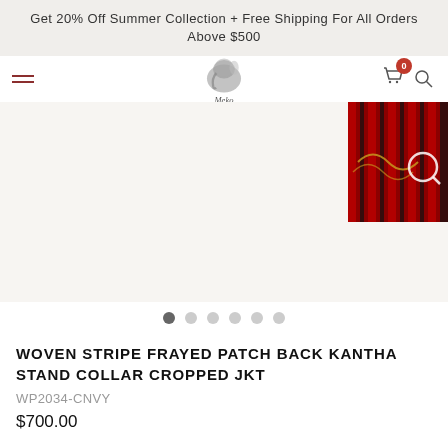Get 20% Off Summer Collection + Free Shipping For All Orders Above $500
[Figure (logo): Meko brand logo with elephant illustration]
[Figure (photo): Product image area showing woven stripe jacket thumbnail on the right side, with carousel dots below]
WOVEN STRIPE FRAYED PATCH BACK KANTHA STAND COLLAR CROPPED JKT
WP2034-CNVY
$700.00